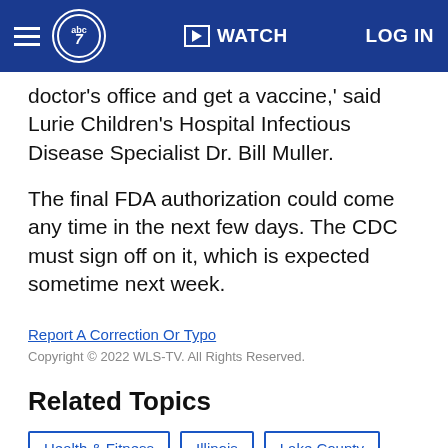abc7 WATCH LOG IN
doctor's office and get a vaccine,' said Lurie Children's Hospital Infectious Disease Specialist Dr. Bill Muller.
The final FDA authorization could come any time in the next few days. The CDC must sign off on it, which is expected sometime next week.
Report A Correction Or Typo
Copyright © 2022 WLS-TV. All Rights Reserved.
Related Topics
Health & Fitness
Illinois
Lake County